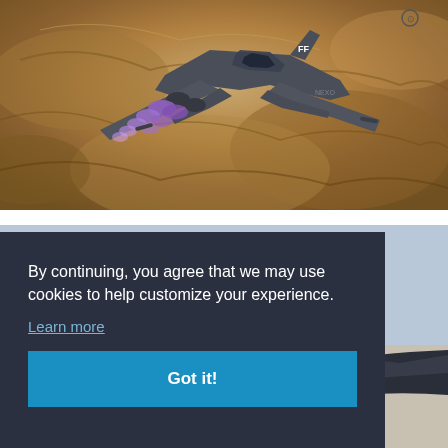[Figure (photo): A dark grey military fighter jet (F/A-18 style) flying over a brown rocky desert terrain, with purple afterburner flames visible from the engines. The tail fin shows 'FF' markings.]
[Figure (photo): Partial view of another dark military aircraft visible on the right side behind the cookie consent overlay.]
By continuing, you agree that we may use cookies to help customize your experience.
Learn more
Got it!